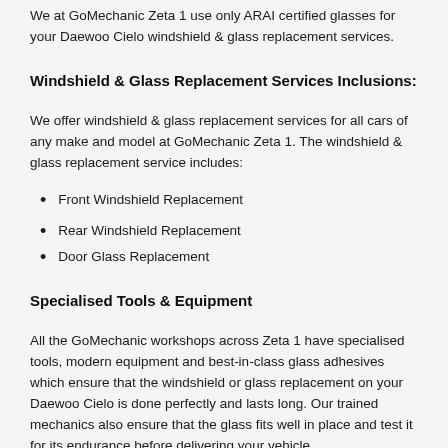We at GoMechanic Zeta 1 use only ARAI certified glasses for your Daewoo Cielo windshield & glass replacement services.
Windshield & Glass Replacement Services Inclusions:
We offer windshield & glass replacement services for all cars of any make and model at GoMechanic Zeta 1. The windshield & glass replacement service includes:
Front Windshield Replacement
Rear Windshield Replacement
Door Glass Replacement
Specialised Tools & Equipment
All the GoMechanic workshops across Zeta 1 have specialised tools, modern equipment and best-in-class glass adhesives which ensure that the windshield or glass replacement on your Daewoo Cielo is done perfectly and lasts long. Our trained mechanics also ensure that the glass fits well in place and test it for its endurance before delivering your vehicle.